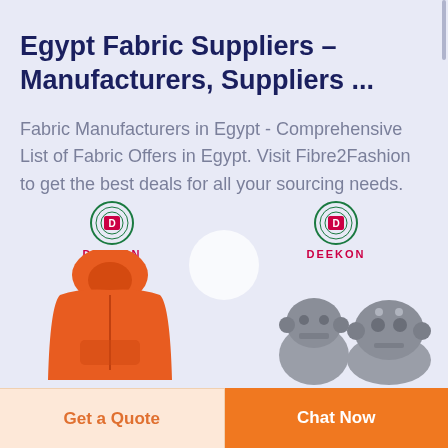Egypt Fabric Suppliers - Manufacturers, Suppliers ...
Fabric Manufacturers in Egypt - Comprehensive List of Fabric Offers in Egypt. Visit Fibre2Fashion to get the best deals for all your sourcing needs.
[Figure (photo): Two product cards side by side with DEEKON logo. Left: orange hoodie/jacket. Right: gray robot figurines. A semi-transparent play button circle overlays the center.]
Get a Quote
Chat Now